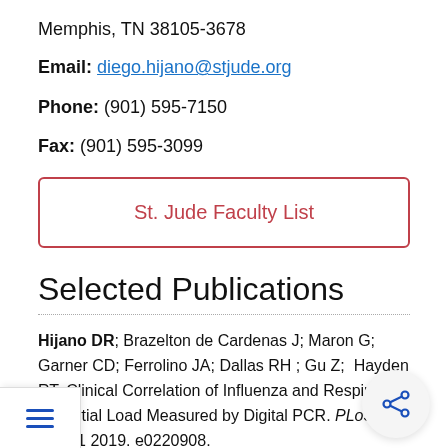Memphis, TN 38105-3678
Email: diego.hijano@stjude.org
Phone: (901) 595-7150
Fax: (901) 595-3099
St. Jude Faculty List
Selected Publications
Hijano DR; Brazelton de Cardenas J; Maron G; Garner CD; Ferrolino JA; Dallas RH ; Gu Z;  Hayden RT. Clinical Correlation of Influenza and Respiratory Syncytial Load Measured by Digital PCR. PLoS ONE 1 2019. e0220908.